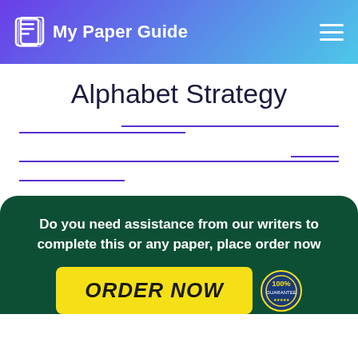My Paper Guide
Alphabet Strategy
[Figure (infographic): Dark green rounded box CTA with text 'Do you need assistance from our writers to complete this or any paper, place order now' and yellow ORDER NOW button with a 100% guarantee badge]
Do you need assistance from our writers to complete this or any paper, place order now
ORDER NOW